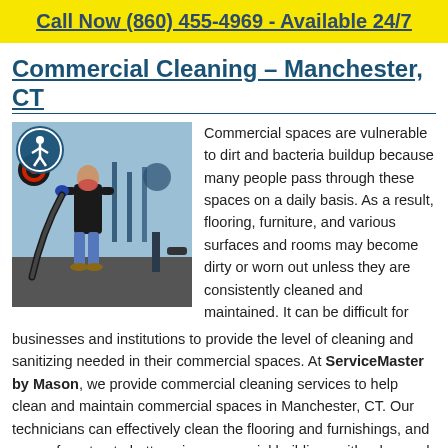Call Now (860) 455-4969 - Available 24/7
Commercial Cleaning – Manchester, CT
[Figure (photo): A cleaning technician in a black shirt and jeans uses a vacuum hose in a gym/fitness space with exercise equipment visible in the background. An accessibility icon (blue circle with white figure) is overlaid in the top-left corner.]
Commercial spaces are vulnerable to dirt and bacteria buildup because many people pass through these spaces on a daily basis.  As a result, flooring, furniture, and various surfaces and rooms may become dirty or worn out unless they are consistently cleaned and maintained.  It can be difficult for businesses and institutions to provide the level of cleaning and sanitizing needed in their commercial spaces.  At ServiceMaster by Mason, we provide commercial cleaning services to help clean and maintain commercial spaces in Manchester, CT.  Our technicians can effectively clean the flooring and furnishings, and rooms from top to bottom, in commercial buildings with advanced methods and we use electrostatic spraying to disinfect commonly